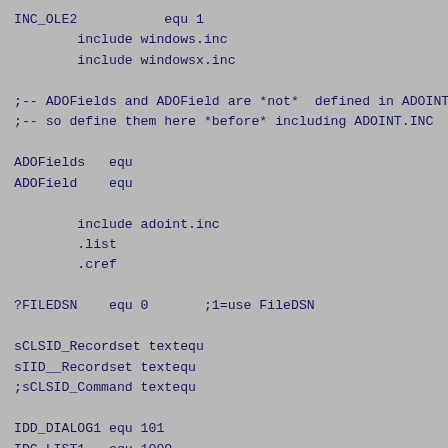INC_OLE2           equ 1
        include windows.inc
        include windowsx.inc

;-- ADOFields and ADOField are *not*  defined in ADOINT.
;-- so define them here *before* including ADOINT.INC

ADOFields   equ
ADOField    equ

        include adoint.inc
        .list
        .cref

?FILEDSN    equ 0       ;1=use FileDSN

sCLSID_Recordset textequ
sIID__Recordset textequ
;sCLSID_Command textequ

IDD_DIALOG1 equ 101
IDC_LIST1   equ 1000
IDC_REFRESH equ 1001
IDC_CLEAR   equ 1002

        .const

;--- define the GUIDS used by the app

CLSID Recordset  sCLSID Recordset